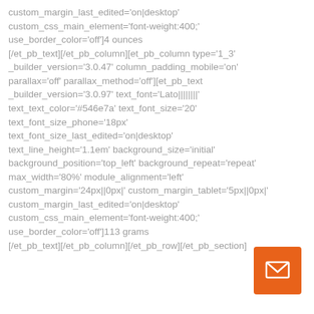custom_margin_last_edited='on|desktop' custom_css_main_element='font-weight:400;' use_border_color='off']4 ounces [/et_pb_text][/et_pb_column][et_pb_column type='1_3' _builder_version='3.0.47' column_padding_mobile='on' parallax='off' parallax_method='off'][et_pb_text _builder_version='3.0.97' text_font='Lato||||||||' text_text_color='#546e7a' text_font_size='20' text_font_size_phone='18px' text_font_size_last_edited='on|desktop' text_line_height='1.1em' background_size='initial' background_position='top_left' background_repeat='repeat' max_width='80%' module_alignment='left' custom_margin='24px||0px|' custom_margin_tablet='5px||0px|' custom_margin_last_edited='on|desktop' custom_css_main_element='font-weight:400;' use_border_color='off']113 grams [/et_pb_text][/et_pb_column][/et_pb_row][/et_pb_section]
[Figure (other): Orange square button with a white envelope/email icon]